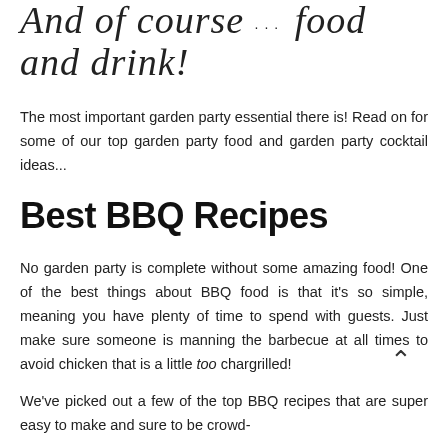And of course ... food and drink!
The most important garden party essential there is! Read on for some of our top garden party food and garden party cocktail ideas...
Best BBQ Recipes
No garden party is complete without some amazing food! One of the best things about BBQ food is that it's so simple, meaning you have plenty of time to spend with guests. Just make sure someone is manning the barbecue at all times to avoid chicken that is a little too chargrilled!
We've picked out a few of the top BBQ recipes that are super easy to make and sure to be crowd-